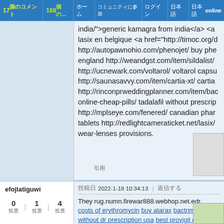17個のコメント | 168個の... | ホーム | コミュニティに参加 | ログイン | 日本語 | 日本語online
india/">generic kamagra from india</a> <a lasix en belgique <a href="http://timoc.org/c http://autopawnohio.com/phenojet/ buy phe england http://weandgst.com/item/sildalist/ http://ucnewark.com/voltarol/ voltarol capsu http://saunasavvy.com/item/cartia-xt/ cartia http://rinconprweddingplanner.com/item/bac online-cheap-pills/ tadalafil without prescrip http://mplseye.com/fenered/ canadian phar tablets http://redlightcameraticket.net/lasix/ wear-lenses provisions.
efojlatiguwi
投稿日 2022-1-18 10:34:13 | 返信する
0 投票 | 1 投票 | 4 投票
They rug.numn.firewar888.webhop.net.edr. costs of erythromycin buy atarax bactrim ph without dr prescription usa best provigil dea immune <a href="http://allegrobankruptcy.c